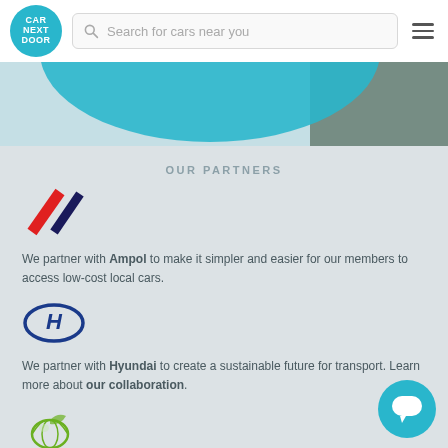Car Next Door — Search for cars near you
[Figure (photo): Hero banner with teal circular shape and dark nature background]
OUR PARTNERS
[Figure (logo): Ampol logo — two diagonal stripes, red and dark blue]
We partner with Ampol to make it simpler and easier for our members to access low-cost local cars.
[Figure (logo): Hyundai logo — dark blue H emblem]
We partner with Hyundai to create a sustainable future for transport. Learn more about our collaboration.
[Figure (logo): Greenfleet logo — green leaf/globe icon]
We proudly support Greenfleet's carbon-reducing reforestation